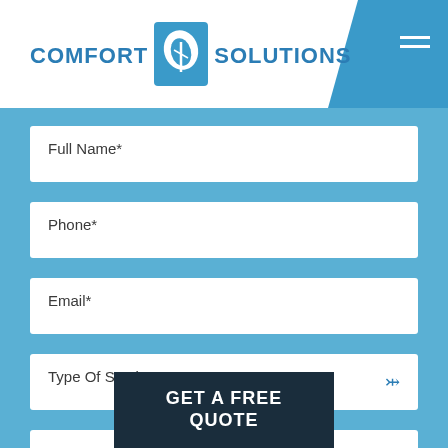[Figure (logo): Comfort Solutions logo with blue leaf/CS icon and blue text reading COMFORT SOLUTIONS]
Full Name*
Phone*
Email*
Type Of Service*
Message*
GET A FREE QUOTE